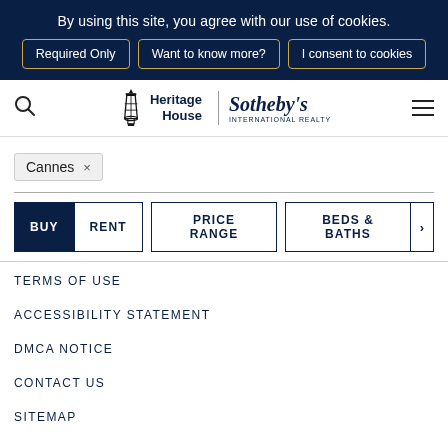By using this site, you agree with our use of cookies.
Required Only | Want to know more? | I consent to cookies
[Figure (logo): Heritage House Sotheby's International Realty logo with lantern icon]
Cannes ×
BUY  RENT  PRICE RANGE  BEDS & BATHS
TERMS OF USE
ACCESSIBILITY STATEMENT
DMCA NOTICE
CONTACT US
SITEMAP